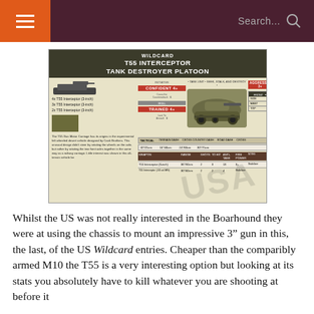Search...
[Figure (infographic): Wildcard T55 Interceptor Tank Destroyer Platoon game card showing unit stats, vehicle image, armor values, and weapons table]
Whilst the US was not really interested in the Boarhound they were at using the chassis to mount an impressive 3” gun in this, the last, of the US Wildcard entries. Cheaper than the comparibly armed M10 the T55 is a very interesting option but looking at its stats you absolutely have to kill whatever you are shooting at before it